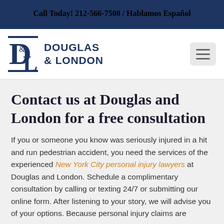Call Today! 212-566-7500 / Hablamos Español
[Figure (logo): Douglas & London law firm logo with stylized D&L monogram and firm name]
Contact us at Douglas and London for a free consultation
If you or someone you know was seriously injured in a hit and run pedestrian accident, you need the services of the experienced New York City personal injury lawyers at Douglas and London. Schedule a complimentary consultation by calling or texting 24/7 or submitting our online form. After listening to your story, we will advise you of your options. Because personal injury claims are